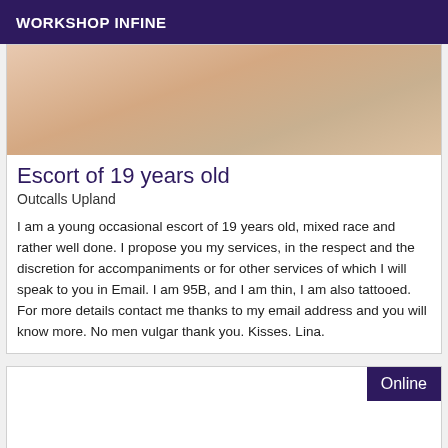WORKSHOP INFINE
[Figure (photo): Close-up photo of a person's torso/back skin area]
Escort of 19 years old
Outcalls Upland
I am a young occasional escort of 19 years old, mixed race and rather well done. I propose you my services, in the respect and the discretion for accompaniments or for other services of which I will speak to you in Email. I am 95B, and I am thin, I am also tattooed. For more details contact me thanks to my email address and you will know more. No men vulgar thank you. Kisses. Lina.
Online